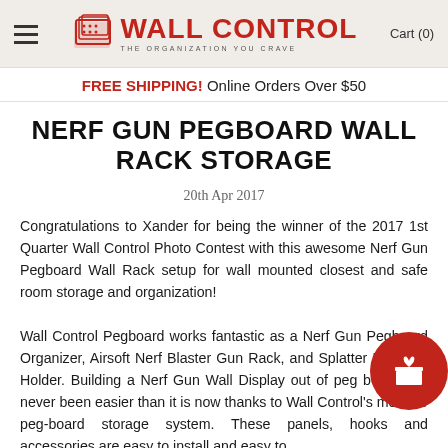Wall Control — THE ORGANIZATION YOU CRAVE | Cart (0)
FREE SHIPPING! Online Orders Over $50
NERF GUN PEGBOARD WALL RACK STORAGE
20th Apr 2017
Congratulations to Xander for being the winner of the 2017 1st Quarter Wall Control Photo Contest with this awesome Nerf Gun Pegboard Wall Rack setup for wall mounted closest and safe room storage and organization!
Wall Control Pegboard works fantastic as a Nerf Gun Pegboard Organizer, Airsoft Nerf Blaster Gun Rack, and Splatter Ball Gun Holder. Building a Nerf Gun Wall Display out of peg board has never been easier than it is now thanks to Wall Control's modular peg-board storage system. These panels, hooks and accessories are easy to install and easy to